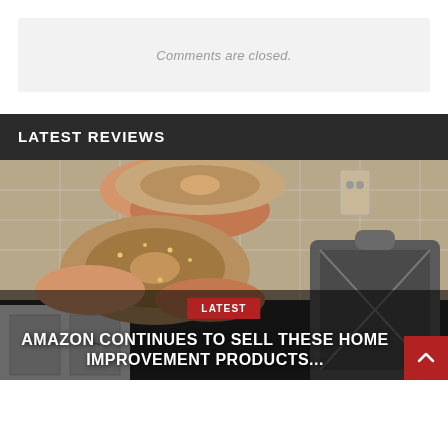Comments are closed.
LATEST REVIEWS
[Figure (photo): Person holding a sliced bagel over a kitchen counter with a bagel slicer device visible on the right side. Kitchen with white cabinets and tile backsplash in background.]
LATEST
AMAZON CONTINUES TO SELL THESE HOME IMPROVEMENT PRODUCTS...